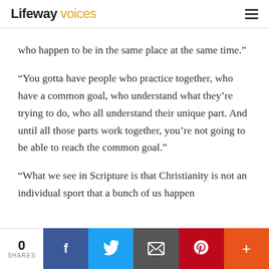Lifeway voices
who happen to be in the same place at the same time.”
“You gotta have people who practice together, who have a common goal, who understand what they’re trying to do, who all understand their unique part. And until all those parts work together, you’re not going to be able to reach the common goal.”
“What we see in Scripture is that Christianity is not an individual sport that a bunch of us happen
0 SHARES | Facebook | Twitter | Email | Pinterest | More